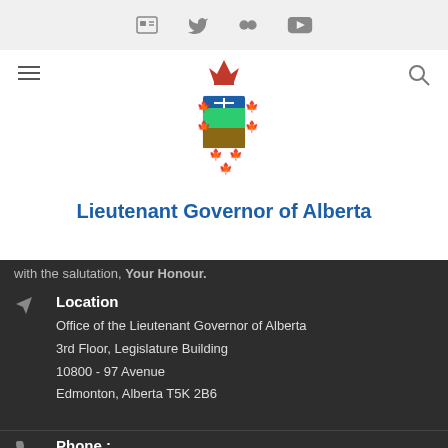Social media icons: contact card, Twitter, Flickr, YouTube
[Figure (logo): Alberta coat of arms / crest with crown and maple leaves]
Lieutenant Governor of Alberta
with the salutation, Your Honour.
Location
Office of the Lieutenant Governor of Alberta
3rd Floor, Legislature Building
10800 - 97 Avenue
Edmonton, Alberta T5K 2B6
Phone :
(780) 427-7243
Email Address :